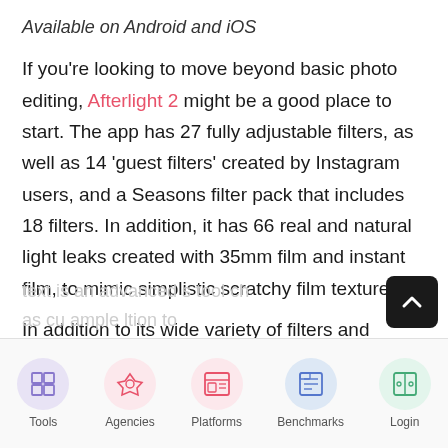Available on Android and iOS
If you're looking to move beyond basic photo editing, Afterlight 2 might be a good place to start. The app has 27 fully adjustable filters, as well as 14 'guest filters' created by Instagram users, and a Seasons filter pack that includes 18 filters. In addition, it has 66 real and natural light leaks created with 35mm film and instant film, to mimic simplistic scratchy film textures.
In addition to its wide variety of filters and
[Figure (other): Mobile app bottom navigation bar with five items: Tools (grid icon, purple background), Agencies (rocket icon, pink background), Platforms (layout icon, pink background), Benchmarks (newspaper icon, blue background), Login (panel icon, green background)]